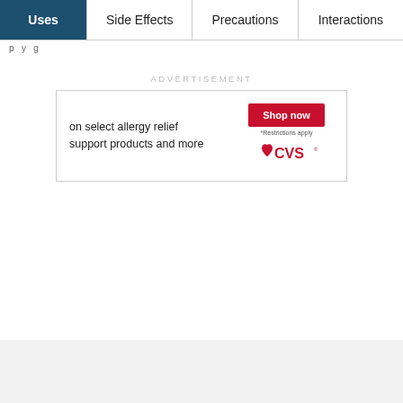Uses | Side Effects | Precautions | Interactions
p y g
ADVERTISEMENT
[Figure (other): CVS advertisement banner: text 'on select allergy relief support products and more', red 'Shop now' button, '*Restrictions apply', CVS heart logo]